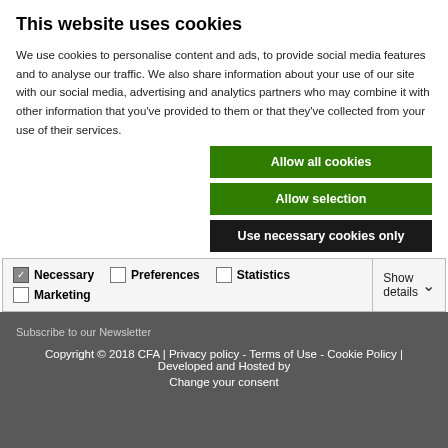This website uses cookies
We use cookies to personalise content and ads, to provide social media features and to analyse our traffic. We also share information about your use of our site with our social media, advertising and analytics partners who may combine it with other information that you've provided to them or that they've collected from your use of their services.
Allow all cookies
Allow selection
Use necessary cookies only
| Option | Label |
| --- | --- |
| Necessary (checked) | Preferences | Statistics |
| Marketing |  |  |
Show details
Subscribe to our Newsletter
Copyright © 2018 CFA | Privacy policy - Terms of Use - Cookie Policy | Developed and Hosted by
Change your consent